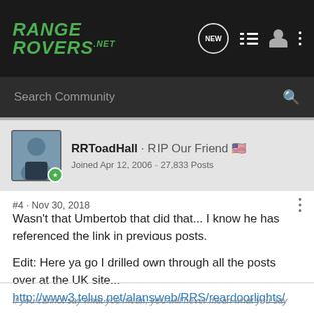RANGE ROVERS .NET
Search Community
RRToadHall · RIP Our Friend 🇺🇸
Joined Apr 12, 2006 · 27,833 Posts
#4 · Nov 30, 2018
Wasn't that Umbertob that did that... I know he has referenced the link in previous posts.

Edit: Here ya go I drilled own through all the posts over at the UK site... http://www3.telus.net/alansweb/RRS/reardoorlights/
If you cannot say what you mean, you will never mean what you say